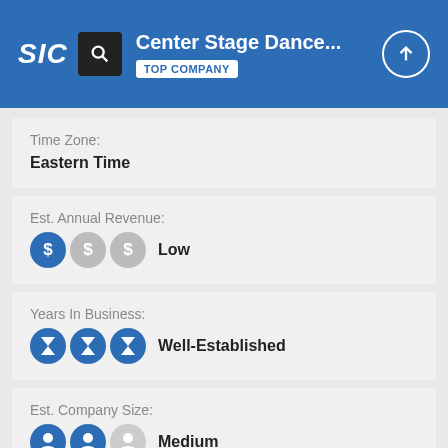Center Stage Dance... TOP COMPANY
Time Zone:
Eastern Time
Est. Annual Revenue:
Low
Years In Business:
Well-Established
Est. Company Size:
Medium